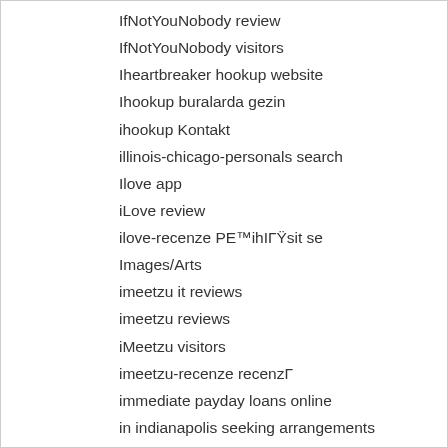IfNotYouNobody review
IfNotYouNobody visitors
Iheartbreaker hookup website
Ihookup buralarda gezin
ihookup Kontakt
illinois-chicago-personals search
Ilove app
iLove review
ilove-recenze PE™ihIГŸsit se
Images/Arts
imeetzu it reviews
imeetzu reviews
iMeetzu visitors
imeetzu-recenze recenzГ
immediate payday loans online
in indianapolis seeking arrangements
incontri bisessuali top
incontri con feticismo del piede top 10
incontri con i giocatori top
incontri etero top